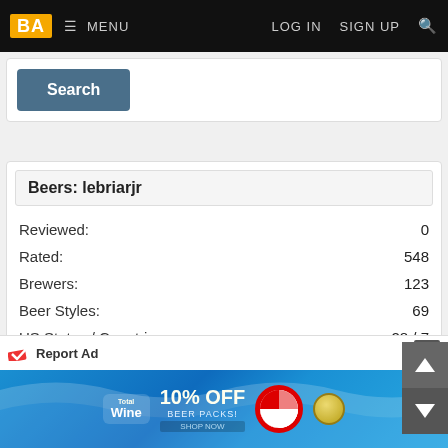BA  MENU  LOG IN  SIGN UP
[Figure (screenshot): Search button]
Beers: lebriarjr
| Stat | Value |
| --- | --- |
| Reviewed: | 0 |
| Rated: | 548 |
| Brewers: | 123 |
| Beer Styles: | 69 |
| US States / Countries: | 28 / 7 |
| Beers Added: | 4 |
| Photos: |  |
Buy Some Gear
[Figure (screenshot): Report Ad banner with Total Wine 10% OFF Beer Packs advertisement]
Report Ad